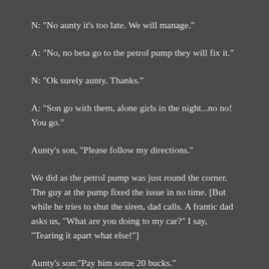N: "No aunty it's too late. We will manage."
A: "No, no beta go to the petrol pump they will fix it."
N: "Ok surely aunty. Thanks."
A: "Son go with them, alone girls in the night...no no! You go."
Aunty's son, "Please follow my directions."
We did as the petrol pump was just round the corner. The guy at the pump fixed the issue in no time. [But while he tries to shut the siren, dad calls. A frantic dad asks us, "What are you doing to my car?" I say, "Tearing it apart what else!"]
Aunty's son:"Pay him some 20 bucks."
Big oops moment! I had no money and Manu never carried money with